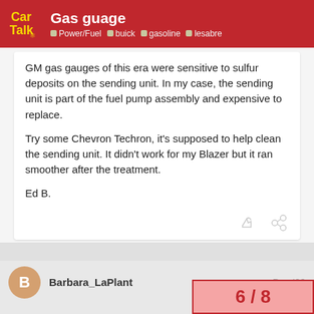Gas guage | Power/Fuel | buick | gasoline | lesabre
GM gas gauges of this era were sensitive to sulfur deposits on the sending unit. In my case, the sending unit is part of the fuel pump assembly and expensive to replace.

Try some Chevron Techron, it’s supposed to help clean the sending unit. It didn’t work for my Blazer but it ran smoother after the treatment.

Ed B.
Barbara_LaPlant
Dec ’09
6 / 8